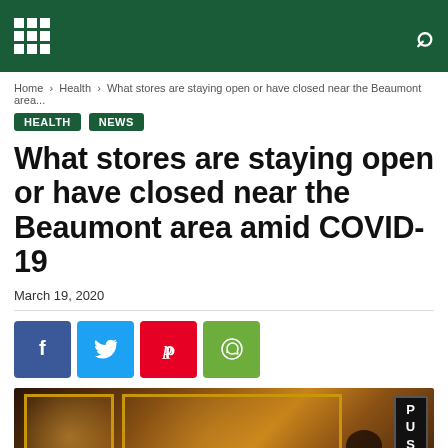navigation header bar with grid menu icon and search icon
Home › Health › What stores are staying open or have closed near the Beaumont area...
HEALTH  NEWS
What stores are staying open or have closed near the Beaumont area amid COVID-19
March 19, 2020
[Figure (infographic): Social sharing buttons: Facebook (blue), Twitter (light blue), Pinterest (red), WhatsApp (green)]
[Figure (photo): Storefront photo showing illuminated shop windows with gold frames and a PUSH door sign, dark interior visible with warm lighting]